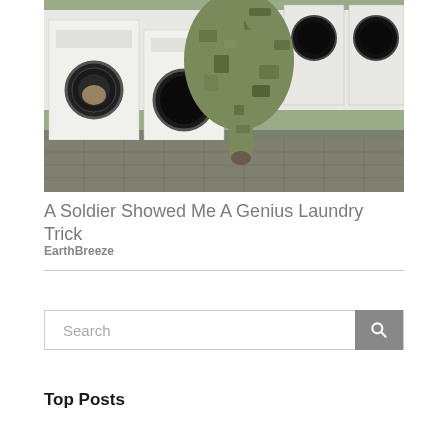[Figure (photo): A soldier in camouflage uniform loading laundry into a front-loading washing machine in a laundromat with rows of white washers and dryers.]
A Soldier Showed Me A Genius Laundry Trick
EarthBreeze
Top Posts